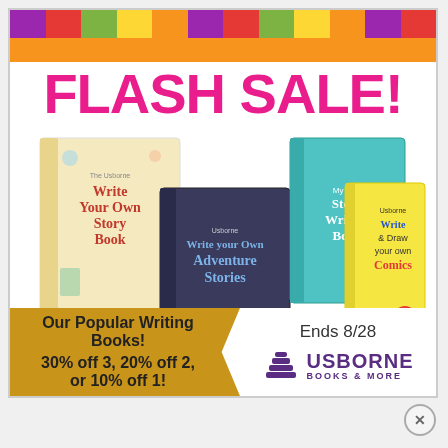[Figure (illustration): Decorative striped banner with orange background, colored vertical stripes (purple, red, green, yellow, orange) and zigzag bottom edge]
FLASH SALE!
[Figure (illustration): Four Usborne children's writing books displayed: 'Write Your Own Story Book', 'Write Your Own Adventure Stories', 'My First Story Writing Book', 'Write & Draw Your Own Comics']
Our Popular Writing Books!
30% off 3, 20% off 2, or 10% off 1!
Ends 8/28
[Figure (logo): Usborne Books & More logo — purple stacked books icon with USBORNE BOOKS & MORE text]